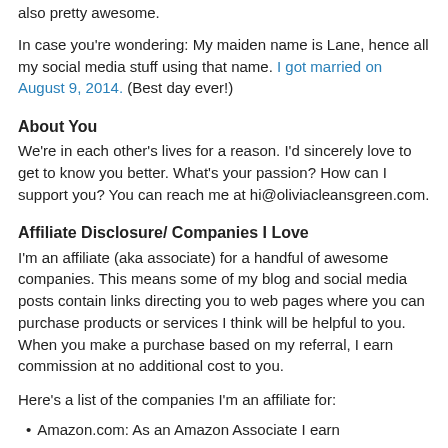also pretty awesome.
In case you're wondering: My maiden name is Lane, hence all my social media stuff using that name. I got married on August 9, 2014. (Best day ever!)
About You
We're in each other's lives for a reason. I'd sincerely love to get to know you better. What's your passion? How can I support you? You can reach me at hi@oliviacleansgreen.com.
Affiliate Disclosure/ Companies I Love
I'm an affiliate (aka associate) for a handful of awesome companies. This means some of my blog and social media posts contain links directing you to web pages where you can purchase products or services I think will be helpful to you. When you make a purchase based on my referral, I earn commission at no additional cost to you.
Here's a list of the companies I'm an affiliate for:
Amazon.com: As an Amazon Associate I earn